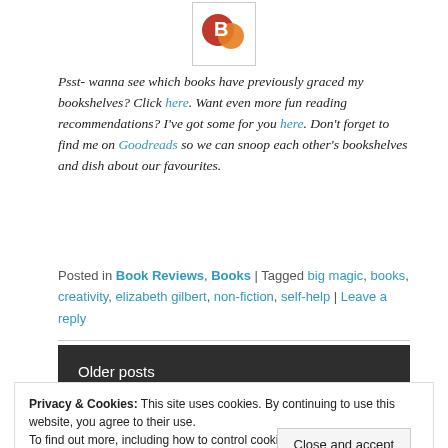[Figure (logo): Blog logo with red B and orange circle on white background in a bordered box]
Psst- wanna see which books have previously graced my bookshelves? Click here. Want even more fun reading recommendations? I've got some for you here. Don't forget to find me on Goodreads so we can snoop each other's bookshelves and dish about our favourites.
Posted in Book Reviews, Books | Tagged big magic, books, creativity, elizabeth gilbert, non-fiction, self-help | Leave a reply
Older posts
Privacy & Cookies: This site uses cookies. By continuing to use this website, you agree to their use.
To find out more, including how to control cookies, see here: Cookie Policy